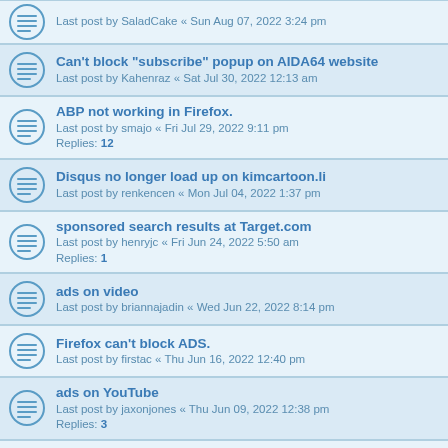Last post by SaladCake « Sun Aug 07, 2022 3:24 pm
Can't block "subscribe" popup on AIDA64 website
Last post by Kahenraz « Sat Jul 30, 2022 12:13 am
ABP not working in Firefox.
Last post by smajo « Fri Jul 29, 2022 9:11 pm
Replies: 12
Disqus no longer load up on kimcartoon.li
Last post by renkencen « Mon Jul 04, 2022 1:37 pm
sponsored search results at Target.com
Last post by henryjc « Fri Jun 24, 2022 5:50 am
Replies: 1
ads on video
Last post by briannajadin « Wed Jun 22, 2022 8:14 pm
Firefox can't block ADS.
Last post by firstac « Thu Jun 16, 2022 12:40 pm
ads on YouTube
Last post by jaxonjones « Thu Jun 09, 2022 12:38 pm
Replies: 3
Donate via address
Last post by artemisclark « Mon Jun 06, 2022 3:39 am
Where can I download ABP for Firefox v 68.11?
Last post by Marco « Mon May 30, 2022 4:32 pm
Yesterday no ads, today: ADS
Last post by ether rogue « Sun May 29, 2022 7:17 am